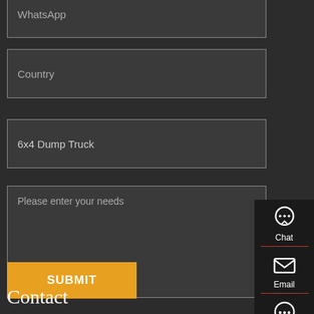WhatsApp
Country
6x4 Dump Truck
Please enter your needs
SUBMIT
[Figure (infographic): Sidebar with Chat, Email, Contact, and Top navigation icons on dark background]
Contact